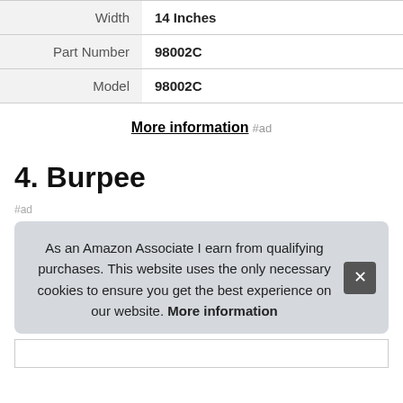| Width | 14 Inches |
| Part Number | 98002C |
| Model | 98002C |
More information #ad
4. Burpee
#ad
As an Amazon Associate I earn from qualifying purchases. This website uses the only necessary cookies to ensure you get the best experience on our website. More information